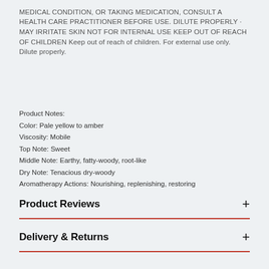MEDICAL CONDITION, OR TAKING MEDICATION, CONSULT A HEALTH CARE PRACTITIONER BEFORE USE. DILUTE PROPERLY · MAY IRRITATE SKIN NOT FOR INTERNAL USE KEEP OUT OF REACH OF CHILDREN Keep out of reach of children. For external use only. Dilute properly.
Product Notes:
Color: Pale yellow to amber
Viscosity: Mobile
Top Note: Sweet
Middle Note: Earthy, fatty-woody, root-like
Dry Note: Tenacious dry-woody
Aromatherapy Actions: Nourishing, replenishing, restoring
Product Reviews
Delivery & Returns